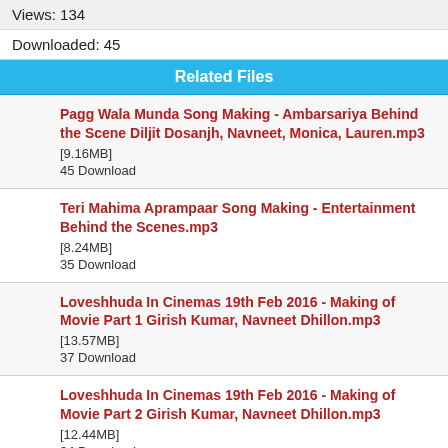Views: 134
Downloaded: 45
Related Files
Pagg Wala Munda Song Making - Ambarsariya Behind the Scene Diljit Dosanjh, Navneet, Monica, Lauren.mp3
[9.16MB]
45 Download
Teri Mahima Aprampaar Song Making - Entertainment Behind the Scenes.mp3
[8.24MB]
35 Download
Loveshhuda In Cinemas 19th Feb 2016 - Making of Movie Part 1 Girish Kumar, Navneet Dhillon.mp3
[13.57MB]
37 Download
Loveshhuda In Cinemas 19th Feb 2016 - Making of Movie Part 2 Girish Kumar, Navneet Dhillon.mp3
[12.44MB]
34 Download
Peene Ki Tamanna Song Making - Loveshhuda Behind the Scene Girish, Navneet Vishal, Parichay.mp3